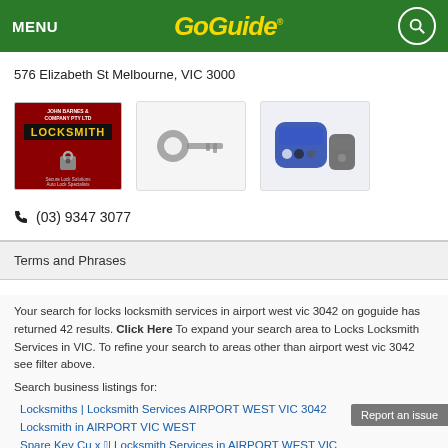MENU  GoGuide
576 Elizabeth St Melbourne, VIC 3000
[Figure (photo): Locksmith business logo (red background with 'LOCKSMITH' text), a key image, and a car key remote image]
(03) 9347 3077
Terms and Phrases
Your search for locks locksmith services in airport west vic 3042 on goguide has returned 42 results. Click Here To expand your search area to Locks Locksmith Services in VIC. To refine your search to areas other than airport west vic 3042 see filter above.
Search business listings for:
Locksmiths | Locksmith Services AIRPORT WEST VIC 3042
Locksmith in AIRPORT VIC WEST
Spare Key Cu... | Locksmith Services in AIRPORT WEST VIC 3042